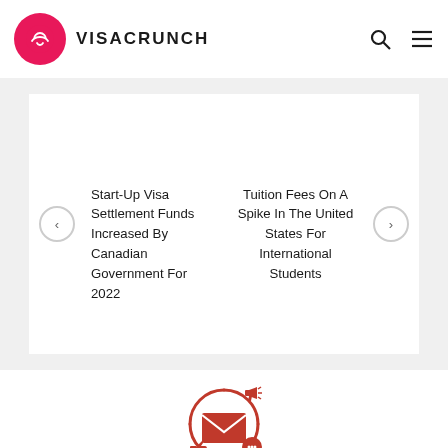VISACRUNCH
Start-Up Visa Settlement Funds Increased By Canadian Government For 2022
Tuition Fees On A Spike In The United States For International Students
[Figure (illustration): Newsletter/email marketing icon: a circular arrow surrounding an envelope with a megaphone, thumbs up, and speech bubble icons in red]
Subscribe to get the latest news and updates.
No Spam, we promise.